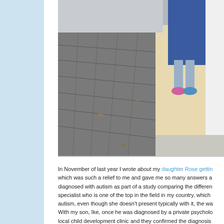[Figure (photo): A child standing near a white post/column on a raised platform, wearing a blue dress, patterned tights, and pink/blue shoes. A brick or paved pathway is visible in the foreground.]
In November of last year I wrote about my daughter Rose getting which was such a relief to me and gave me so many answers a diagnosed with autism as part of a study comparing the differen specialist who is one of the top in the field in my country, which autism, even though she doesn't present typically with it, the wa With my son, Ike, once he was diagnosed by a private psycholo local child development clinic and they confirmed the diagnosis